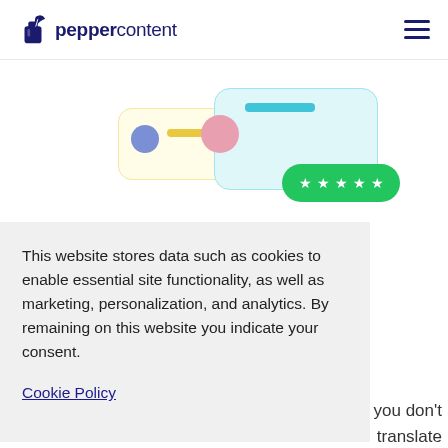peppercontent
[Figure (screenshot): UI mockup cards showing user profile cards with avatars, yellow highlight lines, a cyan card, and a green star-rating pill badge.]
This website stores data such as cookies to enable essential site functionality, as well as marketing, personalization, and analytics. By remaining on this website you indicate your consent.
Cookie Policy
you don't know your language well enough to translate